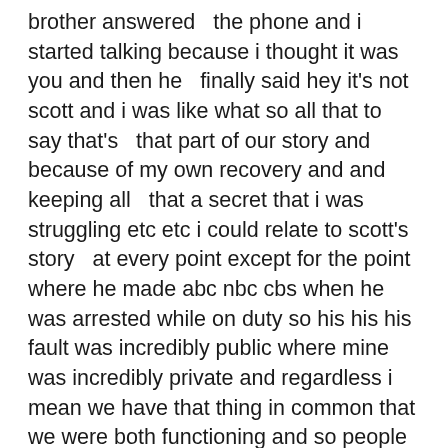brother answered   the phone and i started talking because i thought it was you and then he   finally said hey it's not scott and i was like what so all that to say that's   that part of our story and because of my own recovery and and keeping all   that a secret that i was struggling etc etc i could relate to scott's story   at every point except for the point where he made abc nbc cbs when he was arrested while on duty so his his his fault was incredibly public where mine was incredibly private and regardless i mean we have that thing in common that we were both functioning and so people nowadays at least people are not   thinking every drug addict is is living under the bridge and you know